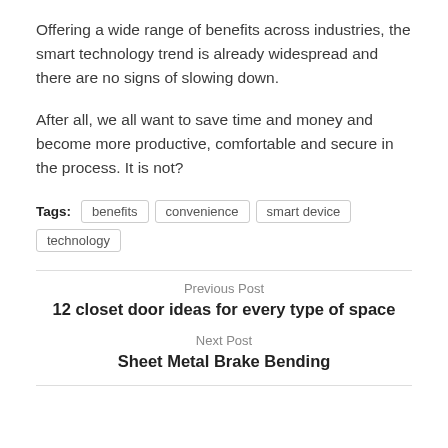Offering a wide range of benefits across industries, the smart technology trend is already widespread and there are no signs of slowing down.
After all, we all want to save time and money and become more productive, comfortable and secure in the process. It is not?
Tags: benefits  convenience  smart device  technology
Previous Post
12 closet door ideas for every type of space
Next Post
Sheet Metal Brake Bending